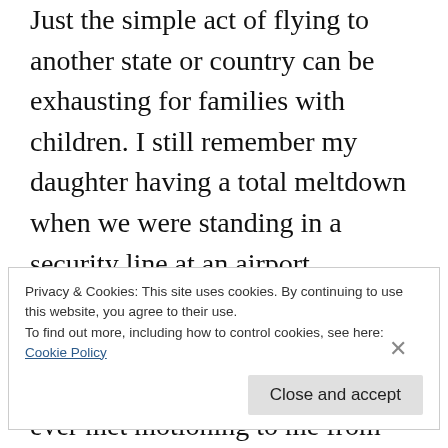Just the simple act of flying to another state or country can be exhausting for families with children. I still remember my daughter having a total meltdown when we were standing in a security line at an airport, although I couldn't tell you which airport. What I do remember is one of the nicest TSA agents I've ever met motioning to me from afar and showing me that she was going to let my family and me through a quicker line. I breathed a sigh of relief in knowing that even a few less minutes
Privacy & Cookies: This site uses cookies. By continuing to use this website, you agree to their use.
To find out more, including how to control cookies, see here:
Cookie Policy
Close and accept